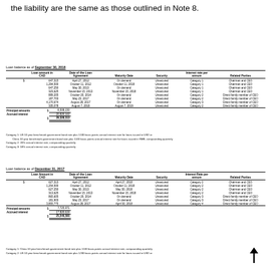the liability are the same as those outlined in Note 8.
Loan balance as of September 30, 2018
| Loan amount in CAD | Date of the Loan Agreement | Maturity Date | Security | Interest rate per annum | Related Parties |
| --- | --- | --- | --- | --- | --- |
| $ 647,315 | April 27, 2012 | On demand | Unsecured | Category 1 | Chairman and CEO |
| 1,294,500 | October 11, 2012 | October 11, 2018 | Unsecured | Category 1 | Chairman and CEO |
| 647,250 | May 30, 2013 | On demand | Unsecured | Category 1 | Chairman and CEO |
| 323,625 | November 15, 2013 | November 15, 2018 | Unsecured | Category 1 | Chairman and CEO |
| 889,205 | October 20, 2014 | On demand | Unsecured | Category 2 | Direct family member of CEO |
| 187,703 | May 23, 2017 | On demand | Unsecured | Category 2 | Direct family member of CEO |
| 4,170,674 | August 28, 2017 | On demand | Unsecured | Category 3 | Direct family member of CEO |
| 335,078 | August 7, 2018 | August 7, 2019 | Unsecured | Category 2 | Direct family member of CEO |
Principal amounts $ 8,508,150
Accrued interest  20,820,163
$ 29,328,313
Category 1: US 10 year benchmark government bond rate plus 1100 basis points annual interest rate for loans issued in USD or China 10 year benchmark government bond rate plus 1100 basis points annual interest rate for loans issued in RMB, compounding quarterly
Category 2: 20% annual interest rate, compounding quarterly
Category 3: 18% annual interest rate, compounding quarterly
Loan balance as of December 31, 2017
| Loan Amount in CAD | Date of the Loan Agreement | Maturity Date | Security | Interest Rate per annum | Related Parties |
| --- | --- | --- | --- | --- | --- |
| $ 627,313 | April 27, 2012 | April 27, 2018 | Unsecured | Category 2 | Chairman and CEO |
| 1,254,500 | October 11, 2012 | October 11, 2018 | Unsecured | Category 2 | Chairman and CEO |
| 627,250 | May 30, 2013 | May 30, 2018 | Unsecured | Category 2 | Chairman and CEO |
| 313,625 | November 15, 2013 | November 15, 2018 | Unsecured | Category 2 | Chairman and CEO |
| 865,605 | October 20, 2014 | On demand | Unsecured | Category 3 | Direct family member of CEO |
| 181,903 | May 23, 2017 | On demand | Unsecured | Category 3 | Direct family member of CEO |
| 3,855,775 | August 28, 2017 | April 30, 2018 | Unsecured | Category 4 | Direct family member of CEO |
Principal amounts $ 7,725,971
Accrued interest  17,820,619
$ 25,546,590
Category 1: China 10 year benchmark government bond rate plus 1100 basis points annual interest rate, compounding quarterly
Category 2: US 10 year benchmark government bond rate plus 1200 basis points annual interest rate for loans issued in USD or